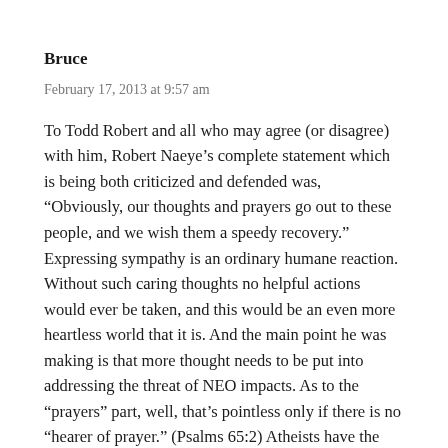Bruce
February 17, 2013 at 9:57 am
To Todd Robert and all who may agree (or disagree) with him, Robert Naeye's complete statement which is being both criticized and defended was, “Obviously, our thoughts and prayers go out to these people, and we wish them a speedy recovery.” Expressing sympathy is an ordinary humane reaction. Without such caring thoughts no helpful actions would ever be taken, and this would be an even more heartless world that it is. And the main point he was making is that more thought needs to be put into addressing the threat of NEO impacts. As to the “prayers” part, well, that’s pointless only if there is no “hearer of prayer.” (Psalms 65:2) Atheists have the right to disbelief and to expresses that disbelief, but believers in God also have such rights. The Bible encourages people to “pray for one